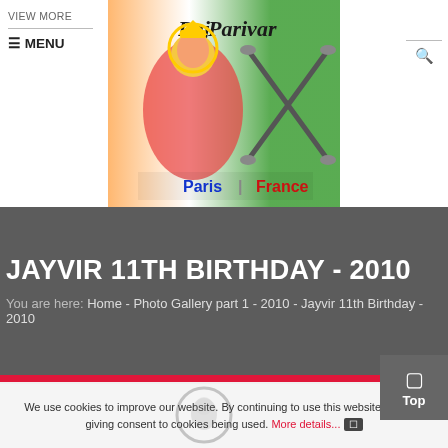[Figure (logo): Raj Parivar logo with goddess figure, crossed swords, Indian flag colors, text: Paris | France]
VIEW MORE  ☰ MENU
JAYVIR 11TH BIRTHDAY - 2010
You are here: Home - Photo Gallery part 1 - 2010 - Jayvir 11th Birthday - 2010
We use cookies to improve our website. By continuing to use this website, you are giving consent to cookies being used. More details... ✕